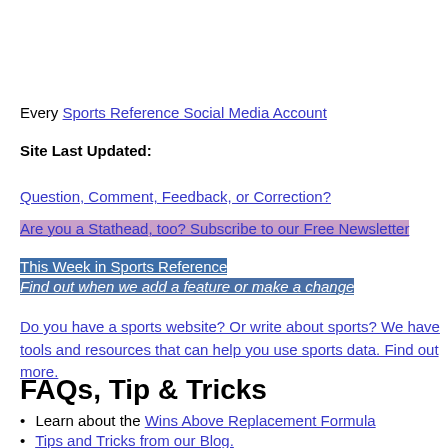Every Sports Reference Social Media Account
Site Last Updated:
Question, Comment, Feedback, or Correction?
Are you a Stathead, too? Subscribe to our Free Newsletter
This Week in Sports Reference
Find out when we add a feature or make a change
Do you have a sports website? Or write about sports? We have tools and resources that can help you use sports data. Find out more.
FAQs, Tip & Tricks
Learn about the Wins Above Replacement Formula
Tips and Tricks from our Blog.